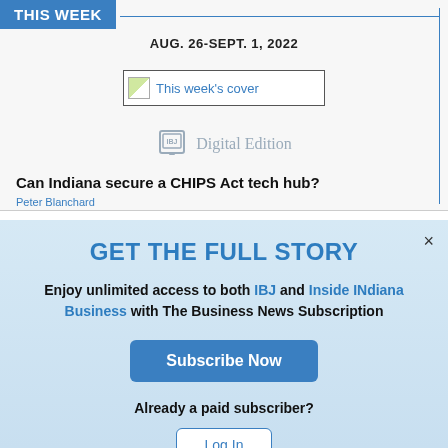THIS WEEK
AUG. 26-SEPT. 1, 2022
[Figure (other): This week's cover image placeholder with link text]
[Figure (other): IBJ Digital Edition icon with tablet graphic]
Can Indiana secure a CHIPS Act tech hub?
Peter Blanchard
GET THE FULL STORY
Enjoy unlimited access to both IBJ and Inside INdiana Business with The Business News Subscription
Subscribe Now
Already a paid subscriber?
Log In